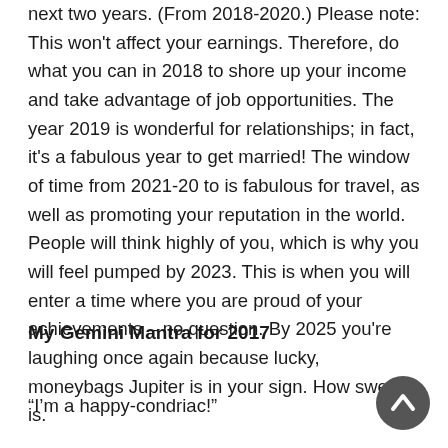next two years. (From 2018-2020.) Please note: This won't affect your earnings. Therefore, do what you can in 2018 to shore up your income and take advantage of job opportunities. The year 2019 is wonderful for relationships; in fact, it's a fabulous year to get married! The window of time from 2021-20 to is fabulous for travel, as well as promoting your reputation in the world. People will think highly of you, which is why you will feel pumped by 2023. This is when you will enter a time where you are proud of your achievements – no question. By 2025 you're laughing once again because lucky, moneybags Jupiter is in your sign. How sweet it is.
My Gemini Mantra for 2017
“I’m a happy-condriac!”